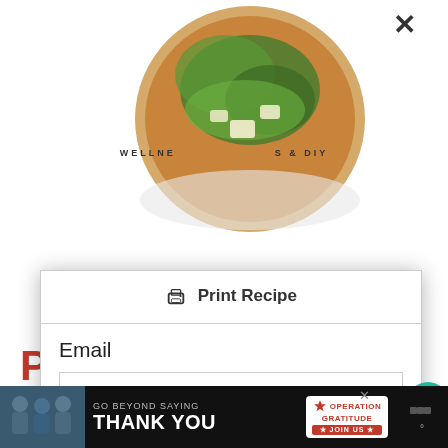[Figure (photo): Pizza topped with arugula and cheese, circular]
WELLNE... S & DIY
recipes & updates every week!
★★★★★
5 from 19 Votes
Print Recipe
Email
Email
SUBSCRIBE
You can easily unsubscribe from our mailing list at any
[Figure (infographic): Advertisement banner: GO BEYOND SAYING THANK YOU - Operation Gratitude JOIN US]
129